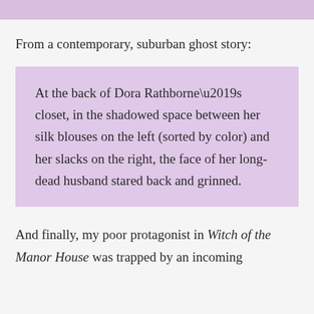From a contemporary, suburban ghost story:
At the back of Dora Rathborne’s closet, in the shadowed space between her silk blouses on the left (sorted by color) and her slacks on the right, the face of her long-dead husband stared back and grinned.
And finally, my poor protagonist in Witch of the Manor House was trapped by an incoming